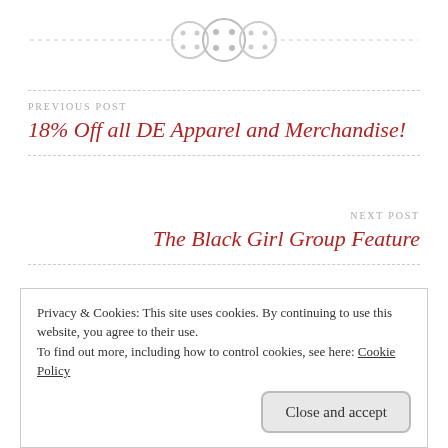[Figure (illustration): Decorative header with three button icons and dashed horizontal lines on either side, rendered in light gray.]
PREVIOUS POST
18% Off all DE Apparel and Merchandise!
NEXT POST
The Black Girl Group Feature
Privacy & Cookies: This site uses cookies. By continuing to use this website, you agree to their use.
To find out more, including how to control cookies, see here: Cookie Policy
Close and accept